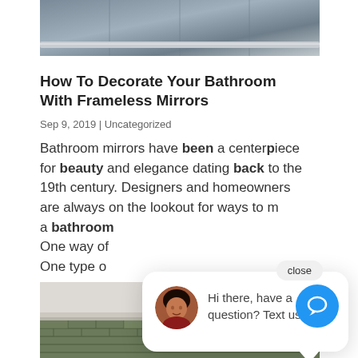[Figure (photo): Partial view of a bathroom with tiled wall and metal bar, top of page]
How To Decorate Your Bathroom With Frameless Mirrors
Sep 9, 2019 | Uncategorized
Bathroom mirrors have been a centerpiece for beauty and elegance dating back to the 19th century. Designers and homeowners are always on the lookout for ways to m[ake] a bathroom [stand out.]
One way of [achieving this is with mirrors.]
One type o[f mirror is the frameless mirror.]
[Figure (screenshot): Chat popup overlay with avatar photo of a woman and text: Hi there, have a question? Text us here. With a close button and chat circle icon.]
[Figure (photo): Bottom portion of a bathroom interior showing ceiling light fixture and green mosaic tile backsplash]